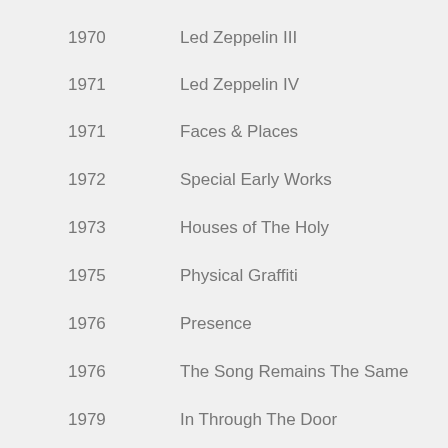1970  Led Zeppelin III
1971  Led Zeppelin IV
1971  Faces & Places
1972  Special Early Works
1973  Houses of The Holy
1975  Physical Graffiti
1976  Presence
1976  The Song Remains The Same
1979  In Through The Door